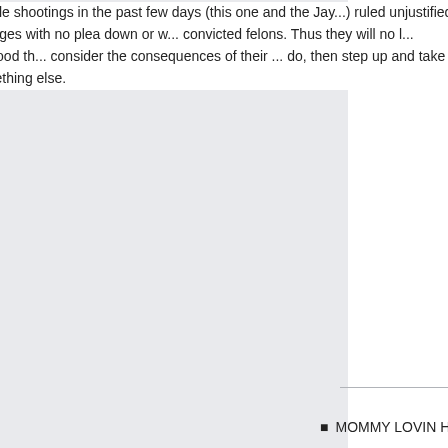We have had two vigilante style sho... past few days (this one and the Jay... ruled unjustified up front due to arre... the charges with no plea down or w... convicted felons. Thus they will no l... ammunition, which will be a good th... consider the consequences of their ... do, then step up and take responsib... someone or something else.
MOMMY LOVIN HER LITTLE ANGEL...
I ALWAYS THOUGHT THEY HAD T... SHOT AT THEM, I WAS ALWAYS T... DOORWAY AND THEY FALL OUTS... WOULD BE CHARGED, PEOPLE A... OFF, THAT THEY LOOK FOR ANY... USE A LITTLE COMMON SENSE N... DOWN THE STREET, WELL GOOD...
Wild Bill on February 28th, 2010 8:56 a...
If found guilty, I hope their right to b... judge should order numerous hours...